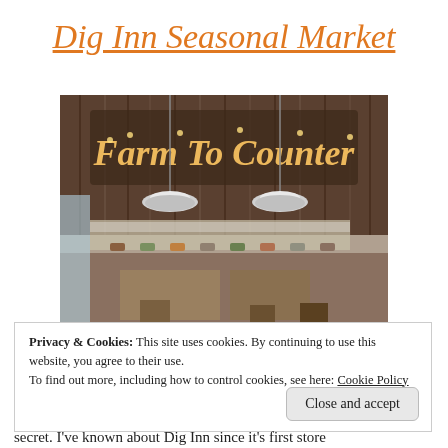Dig Inn Seasonal Market
[Figure (photo): Interior of Dig Inn restaurant showing a counter/buffet area with a 'Farm To Counter' marquee sign in glowing lights on a rustic wood-paneled wall, with industrial pendant lights hanging above and food display cases along the counter.]
Privacy & Cookies: This site uses cookies. By continuing to use this website, you agree to their use.
To find out more, including how to control cookies, see here: Cookie Policy
Close and accept
secret. I've known about Dig Inn since it's first store